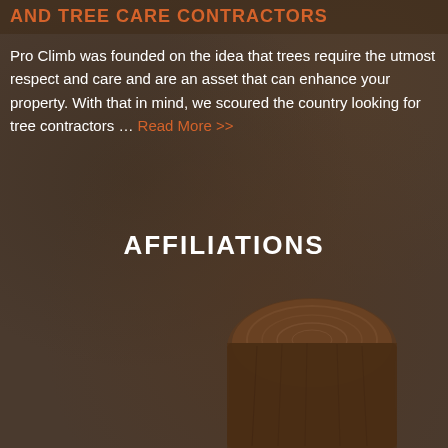AND TREE CARE CONTRACTORS
Pro Climb was founded on the idea that trees require the utmost respect and care and are an asset that can enhance your property. With that in mind, we scoured the country looking for tree contractors … Read More >>
AFFILIATIONS
[Figure (photo): Background photo of dark brown wood texture with a tree stump visible in the lower portion of the image.]